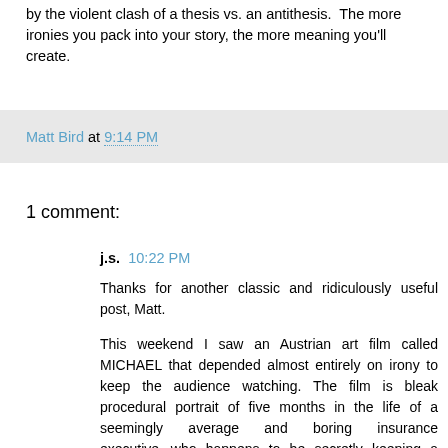by the violent clash of a thesis vs. an antithesis.  The more ironies you pack into your story, the more meaning you'll create.
Matt Bird at 9:14 PM
1 comment:
j.s.  10:22 PM
Thanks for another classic and ridiculously useful post, Matt.
This weekend I saw an Austrian art film called MICHAEL that depended almost entirely on irony to keep the audience watching. The film is bleak procedural portrait of five months in the life of a seemingly average and boring insurance executive...who happens to be secretly keeping a kidnapped boy in his basement.
The protagonist is the most chilling and repulsive kind of psychopath, a man who views everyone in his life as either